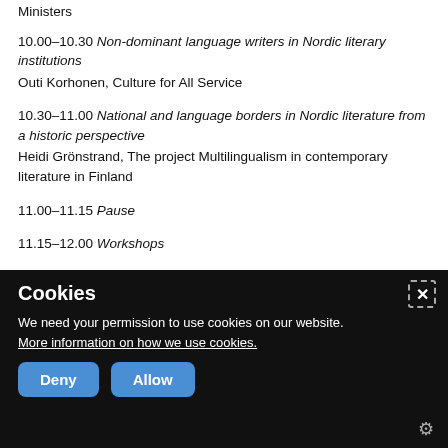Ministers
10.00–10.30 Non-dominant language writers in Nordic literary institutions
Outi Korhonen, Culture for All Service
10.30–11.00 National and language borders in Nordic literature from a historic perspective
Heidi Grönstrand, The project Multilingualism in contemporary literature in Finland
11.00–11.15 Pause
11.15–12.00 Workshops
Cookies
We need your permission to use cookies on our website. More information on how we use cookies.